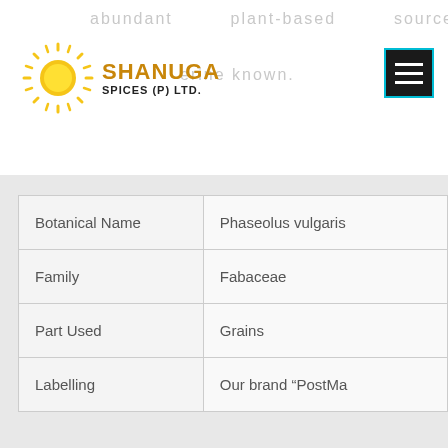abundant   plant-based   source   of
erine known.
[Figure (logo): Shanuga Spices (P) Ltd. logo with sun graphic and company name in orange and black text]
[Figure (other): Hamburger menu icon with three white lines on dark background with cyan border]
| Botanical Name | Phaseolus vulgaris |
| Family | Fabaceae |
| Part Used | Grains |
| Labelling | Our brand “PostMa |